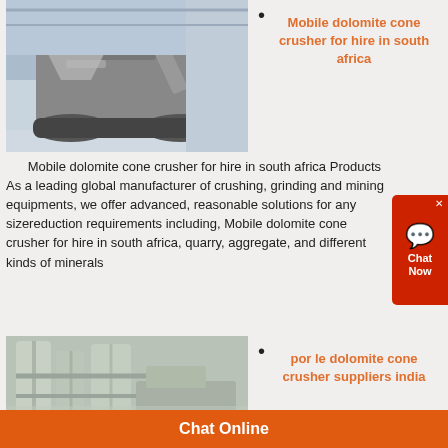[Figure (photo): Mobile cone crusher machine in an industrial warehouse setting]
•
Mobile dolomite cone crusher for hire in south africa
Mobile dolomite cone crusher for hire in south africa Products As a leading global manufacturer of crushing, grinding and mining equipments, we offer advanced, reasonable solutions for any sizereduction requirements including, Mobile dolomite cone crusher for hire in south africa, quarry, aggregate, and different kinds of minerals
[Figure (photo): Industrial grinding/milling equipment with pipes and silos]
•
por le dolomite cone crusher suppliers india
Miningpor le limestone cone crusher supplier malaysia Obile Dolomite Cone Crusher
Chat Online